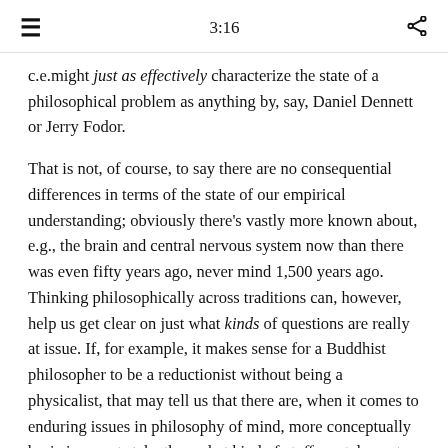≡  3:16  ⋖
c.e.might just as effectively characterize the state of a philosophical problem as anything by, say, Daniel Dennett or Jerry Fodor.
That is not, of course, to say there are no consequential differences in terms of the state of our empirical understanding; obviously there's vastly more known about, e.g., the brain and central nervous system now than there was even fifty years ago, never mind 1,500 years ago. Thinking philosophically across traditions can, however, help us get clear on just what kinds of questions are really at issue. If, for example, it makes sense for a Buddhist philosopher to be a reductionist without being a physicalist, that may tell us that there are, when it comes to enduring issues in philosophy of mind, more conceptually basic issues at stake than what kind of stuff mental events are made of. Jerry Fodor has aptly said that the availability of the computer metaphor represents "the only respect in which contemporary Cognitive Science represents a major